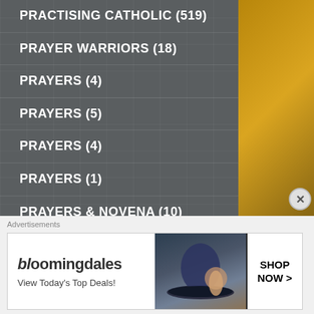PRACTISING CATHOLIC (519)
PRAYER WARRIORS (18)
PRAYERS (4)
PRAYERS (5)
PRAYERS (4)
PRAYERS (1)
PRAYERS & NOVENA (10)
PRAYERS for CANONISATION (8)
PRAYERS for PRIESTS (30)
PRAYERS for SEASONS (104)
PRAYERS for VARIOUS NEEDS (277)
Advertisements
[Figure (screenshot): Bloomingdale's advertisement banner: 'bloomingdales - View Today's Top Deals!' with SHOP NOW > button and model wearing large hat]